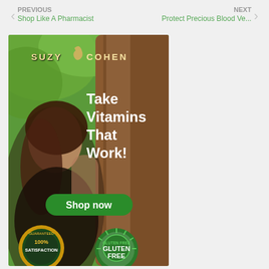PREVIOUS | Shop Like A Pharmacist | NEXT | Protect Precious Blood Ve...
[Figure (illustration): Advertisement banner for Suzy Cohen vitamins. Shows a woman with long dark hair smiling outdoors against a tree. Text reads: SUZY COHEN, Take Vitamins That Work!, Shop now button, 100% Satisfaction Guaranteed badge, Gluten Free badge.]